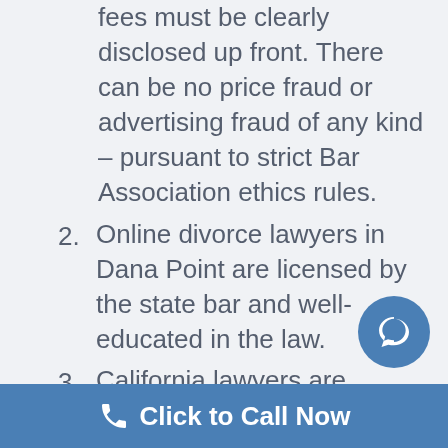fees must be clearly disclosed up front. There can be no price fraud or advertising fraud of any kind – pursuant to strict Bar Association ethics rules.
2. Online divorce lawyers in Dana Point are licensed by the state bar and well-educated in the law.
3. California lawyers are required to take continuing legal education courses.
4. Local lawyers in Dana Point know California law and local Superior Court Rules of Court as well as many policies of individual judges at your local Superior Court. They are also well known at your local Superior Court.
Click to Call Now